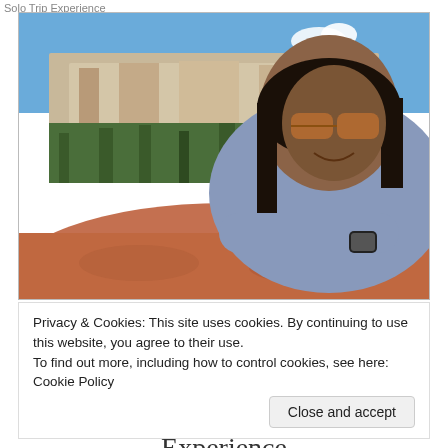Solo Trip Experience
[Figure (photo): A woman wearing sunglasses and a blue sweatshirt leaning on a red rock formation, smiling at the camera. Behind her are cliffs with trees and a blue sky.]
Privacy & Cookies: This site uses cookies. By continuing to use this website, you agree to their use.
To find out more, including how to control cookies, see here: Cookie Policy
Close and accept
Experience